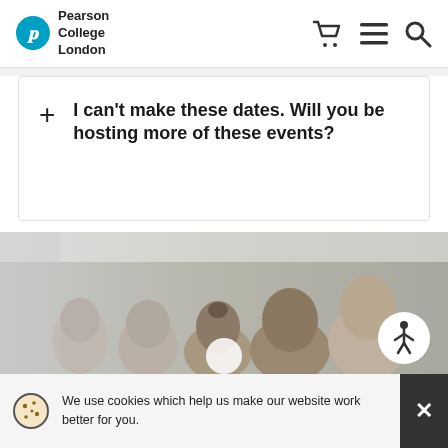Pearson College London
I can't make these dates. Will you be hosting more of these events?
[Figure (photo): Group of university students sitting in rows, looking forward, seen from the side in a lecture or event setting.]
We use cookies which help us make our website work better for you.